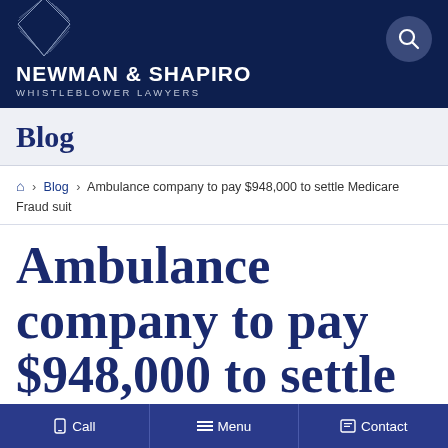NEWMAN & SHAPIRO WHISTLEBLOWER LAWYERS
Blog
🏠 > Blog > Ambulance company to pay $948,000 to settle Medicare Fraud suit
Ambulance company to pay $948,000 to settle Medicare
Call   Menu   Contact